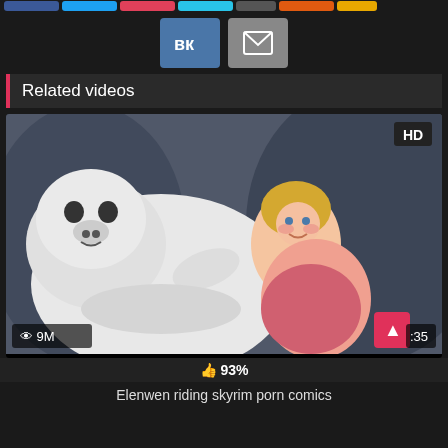[Figure (illustration): Row of social share buttons at top (partially visible): blue Facebook, light blue Twitter, red, light blue, dark, orange, and others]
[Figure (illustration): Two social share buttons: VK (dark blue with VK logo) and email (grey with envelope icon)]
Related videos
[Figure (illustration): Anime/cartoon illustration: a large white polar bear hugging a blonde female character in a cave setting. HD badge top right. View count 9M bottom left. Duration :35 bottom right. Pink up-arrow button bottom right area.]
93%
Elenwen riding skyrim porn comics